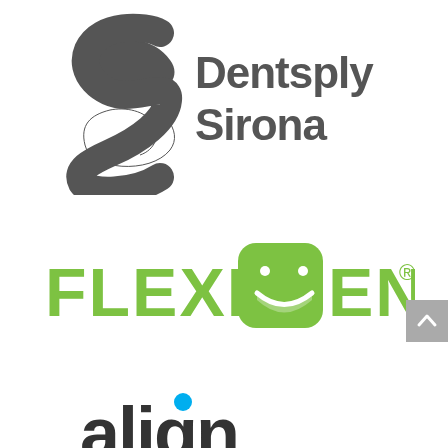[Figure (logo): Dentsply Sirona logo — grey stylized S-curve mark on the left, with 'Dentsply Sirona' text in dark grey on the right]
[Figure (logo): Flexident logo — green rounded square containing a white smiling mouth/face icon, with 'FLEXIDENT' text in green with registered trademark symbol]
[Figure (logo): Align Technology logo — lowercase 'align' text in dark charcoal with a teal/blue dot above the 'i']